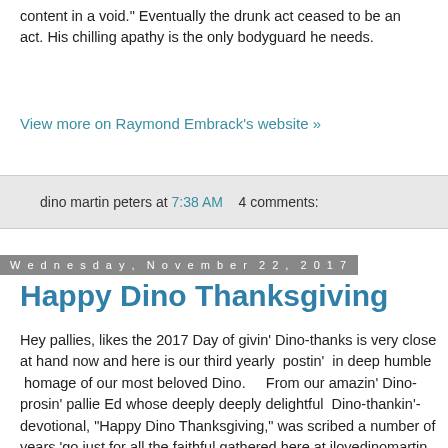content in a void." Eventually the drunk act ceased to be an act. His chilling apathy is the only bodyguard he needs.
View more on Raymond Embrack's website »
dino martin peters at 7:38 AM   4 comments:
Wednesday, November 22, 2017
Happy Dino Thanksgiving
Hey pallies, likes the 2017 Day of givin' Dino-thanks is very close at hand now and here is our third yearly  postin'  in deep humble  homage of our most beloved Dino.    From our amazin' Dino-prosin' pallie Ed whose deeply deeply delightful  Dino-thankin'-devotional, "Happy Dino Thanksgiving," was scribed a number of years 'go just for all the faithful gathered here at ilovedinomartin   Likes we are totally totally thrilled to once 'gain brings it your Dino-way.   Here are pallie  Ed's outstandin' Dino-thoughts durin' our season of "Givin' Dino